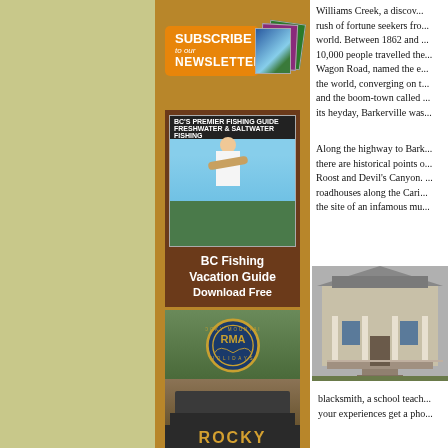[Figure (other): Subscribe to our Newsletters banner with orange background and magazine covers]
[Figure (other): BC Fishing Vacation Guide advertisement with woman holding fish]
BC Fishing Vacation Guide Download Free
[Figure (other): Rocky Mountain Holidays advertisement with train and circular logo]
ROCKY
Williams Creek, a discover... rush of fortune seekers from... world. Between 1862 and... 10,000 people travelled the... Wagon Road, named the e... the world, converging on t... and the boom-town called... its heyday, Barkerville was...
Along the highway to Bark... there are historical points o... Roost and Devil's Canyon.... roadhouses along the Cari... the site of an infamous mu...
[Figure (photo): Historic building with porch and wooden structure, appears to be Barkerville era]
blacksmith, a school teach... your experiences get a pho...